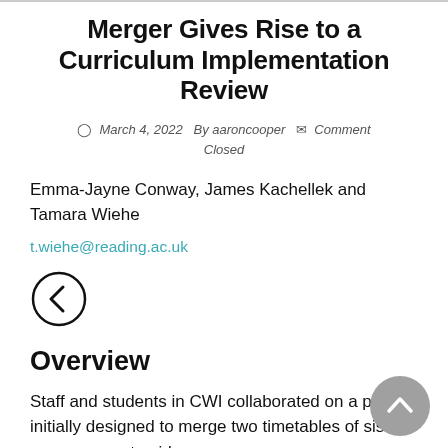Merger Gives Rise to a Curriculum Implementation Review
March 4, 2022  By aaroncooper  Comment Closed
Emma-Jayne Conway, James Kachellek and Tamara Wiehe
t.wiehe@reading.ac.uk
[Figure (other): Left navigation arrow in a circle]
Overview
Staff and students in CWI collaborated on a project initially designed to merge two timetables of sister programmes to aid cross